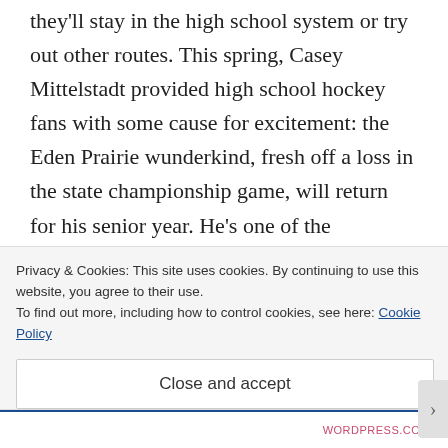they'll stay in the high school system or try out other routes. This spring, Casey Mittelstadt provided high school hockey fans with some cause for excitement: the Eden Prairie wunderkind, fresh off a loss in the state championship game, will return for his senior year. He's one of the highest-profile players to stick around in recent memory, and now has a chance to
Privacy & Cookies: This site uses cookies. By continuing to use this website, you agree to their use.
To find out more, including how to control cookies, see here: Cookie Policy
Close and accept